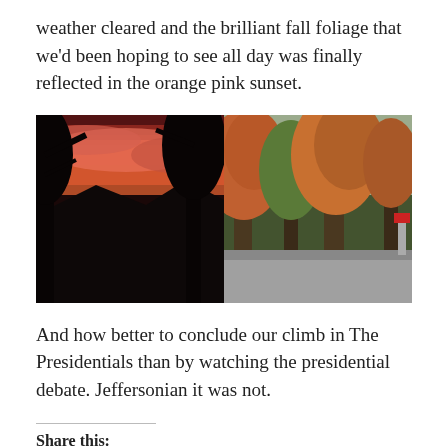weather cleared and the brilliant fall foliage that we'd been hoping to see all day was finally reflected in the orange pink sunset.
[Figure (photo): Two side-by-side outdoor photographs. Left: a dramatic orange-pink sunset sky seen through dark silhouetted trees and mountains. Right: autumn trees with orange and red foliage along a roadside in daylight.]
And how better to conclude our climb in The Presidentials than by watching the presidential debate. Jeffersonian it was not.
Share this: